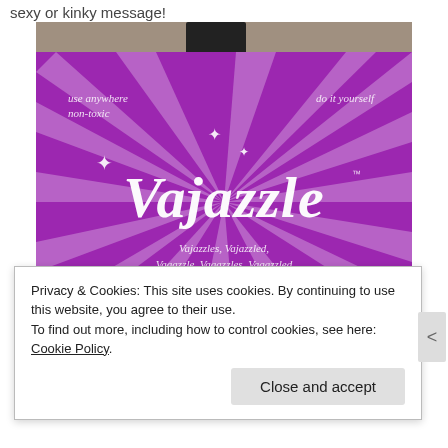sexy or kinky message!
[Figure (photo): Photo of a Vajazzle product package with purple and white swirl design. Text on package reads: 'use anywhere', 'non-toxic', 'do it yourself', 'Vajazzle™', 'Vajazzles, Vajazzled, Vagazzle, Vagazzles, Vagazzled', 'Crystal Tattoo for your body...']
Privacy & Cookies: This site uses cookies. By continuing to use this website, you agree to their use.
To find out more, including how to control cookies, see here: Cookie Policy